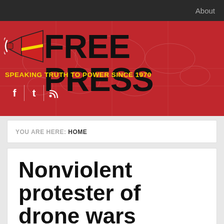About
[Figure (logo): Free Press newspaper logo with megaphone icon on red background. Text reads FREE PRESS in large black bold letters. Tagline: SPEAKING TRUTH TO POWER SINCE 1970 in yellow. Social icons for Facebook, Twitter, RSS feed below.]
YOU ARE HERE: HOME
Nonviolent protester of drone wars sentenced to